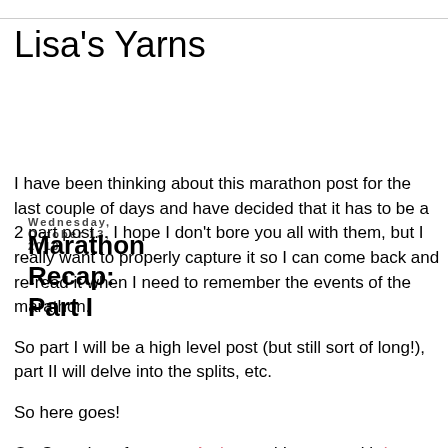Lisa's Yarns
Wednesday, October 13, 2010
Marathon Recap: Part I
I have been thinking about this marathon post for the last couple of days and have decided that it has to be a 2 part post... I hope I don't bore you all with them, but I really want to properly capture it so I can come back and re-read it when I need to remember the events of the marathon.
So part I will be a high level post (but still sort of long!), part II will delve into the splits, etc.
So here goes!
On Saturday afternoon, Amber and I met up with Lauren and her manfriend and headed to the expo. It was awesome to meet Lauren and manfriend face to face after reading her...